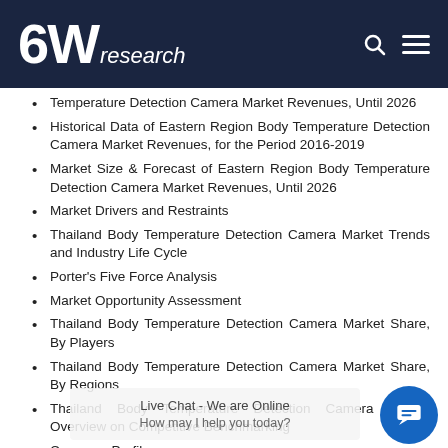6Wresearch
Temperature Detection Camera Market Revenues, Until 2026
Historical Data of Eastern Region Body Temperature Detection Camera Market Revenues, for the Period 2016-2019
Market Size & Forecast of Eastern Region Body Temperature Detection Camera Market Revenues, Until 2026
Market Drivers and Restraints
Thailand Body Temperature Detection Camera Market Trends and Industry Life Cycle
Porter's Five Force Analysis
Market Opportunity Assessment
Thailand Body Temperature Detection Camera Market Share, By Players
Thailand Body Temperature Detection Camera Market Share, By Regions
Thailand Body Temperature Detection Camera Market Overview on Competitive Benchmarking
Company Profiles
Key Strategic Recommendations